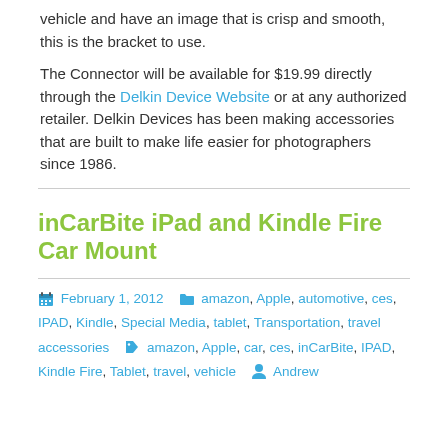want to attach your camera to the top or side of a vehicle and have an image that is crisp and smooth, this is the bracket to use.

The Connector will be available for $19.99 directly through the Delkin Device Website or at any authorized retailer. Delkin Devices has been making accessories that are built to make life easier for photographers since 1986.
inCarBite iPad and Kindle Fire Car Mount
February 1, 2012  amazon, Apple, automotive, ces, IPAD, Kindle, Special Media, tablet, Transportation, travel accessories  amazon, Apple, car, ces, inCarBite, IPAD, Kindle Fire, Tablet, travel, vehicle  Andrew